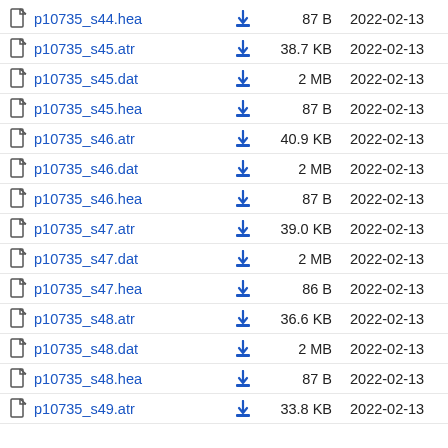p10735_s44.hea  87 B  2022-02-13
p10735_s45.atr  38.7 KB  2022-02-13
p10735_s45.dat  2 MB  2022-02-13
p10735_s45.hea  87 B  2022-02-13
p10735_s46.atr  40.9 KB  2022-02-13
p10735_s46.dat  2 MB  2022-02-13
p10735_s46.hea  87 B  2022-02-13
p10735_s47.atr  39.0 KB  2022-02-13
p10735_s47.dat  2 MB  2022-02-13
p10735_s47.hea  86 B  2022-02-13
p10735_s48.atr  36.6 KB  2022-02-13
p10735_s48.dat  2 MB  2022-02-13
p10735_s48.hea  87 B  2022-02-13
p10735_s49.atr  33.8 KB  2022-02-13